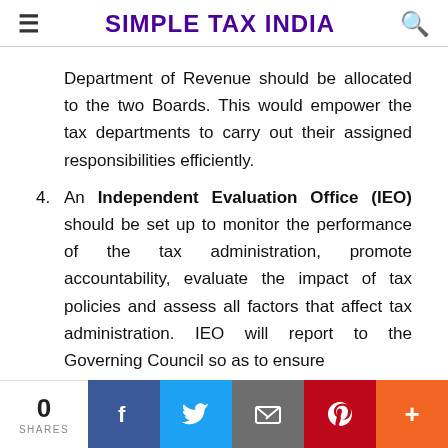SIMPLE TAX INDIA
Department of Revenue should be allocated to the two Boards. This would empower the tax departments to carry out their assigned responsibilities efficiently.
4. An Independent Evaluation Office (IEO) should be set up to monitor the performance of the tax administration, promote accountability, evaluate the impact of tax policies and assess all factors that affect tax administration. IEO will report to the Governing Council so as to ensure
0 SHARES | Facebook | Twitter | Email | Pinterest | More